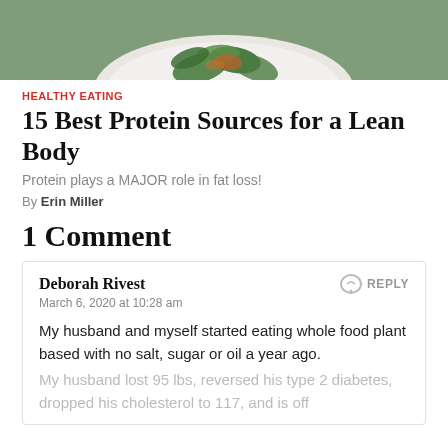[Figure (photo): Top portion of a plate with a green leafy salad on a grey background, cropped at bottom of plate]
HEALTHY EATING
15 Best Protein Sources for a Lean Body
Protein plays a MAJOR role in fat loss!
By Erin Miller
1 Comment
Deborah Rivest
March 6, 2020 at 10:28 am
My husband and myself started eating whole food plant based with no salt, sugar or oil a year ago.
My husband lost 95 lbs, reversed his type 2 diabetes, dropped his cholesterol to 117, and is off